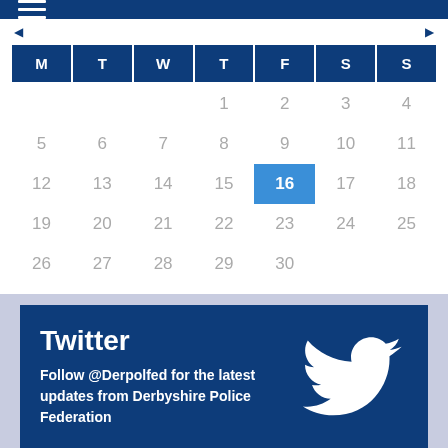Navigation menu bar
| M | T | W | T | F | S | S |
| --- | --- | --- | --- | --- | --- | --- |
|  |  |  | 1 | 2 | 3 | 4 |
| 5 | 6 | 7 | 8 | 9 | 10 | 11 |
| 12 | 13 | 14 | 15 | 16 | 17 | 18 |
| 19 | 20 | 21 | 22 | 23 | 24 | 25 |
| 26 | 27 | 28 | 29 | 30 |  |  |
Twitter
Follow @Derpolfed for the latest updates from Derbyshire Police Federation